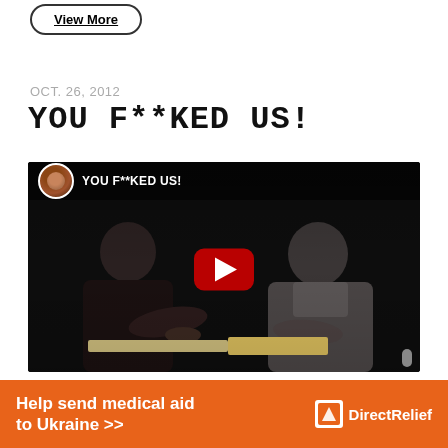View More
OCT. 26, 2012
YOU F**KED US!
[Figure (screenshot): YouTube video embed showing two men sitting at a table in a dark setting, with the video title 'YOU F**KED US!' and a red play button in the center.]
Help send medical aid to Ukraine >> Direct Relief